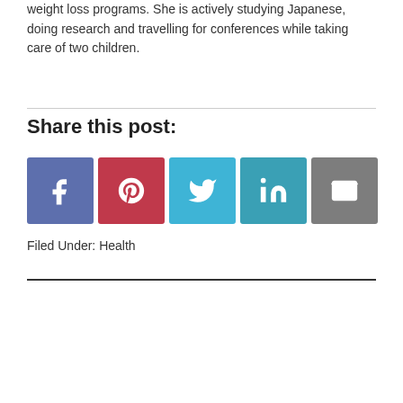weight loss programs. She is actively studying Japanese, doing research and travelling for conferences while taking care of two children.
Share this post:
[Figure (infographic): Social sharing buttons for Facebook, Pinterest, Twitter, LinkedIn, and Email]
Filed Under: Health